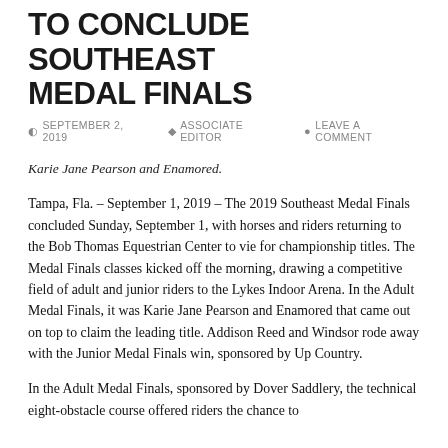TO CONCLUDE SOUTHEAST MEDAL FINALS
SEPTEMBER 2, 2019  ASSOCIATE EDITOR  LEAVE A COMMENT
Karie Jane Pearson and Enamored.
Tampa, Fla. – September 1, 2019 – The 2019 Southeast Medal Finals concluded Sunday, September 1, with horses and riders returning to the Bob Thomas Equestrian Center to vie for championship titles. The Medal Finals classes kicked off the morning, drawing a competitive field of adult and junior riders to the Lykes Indoor Arena. In the Adult Medal Finals, it was Karie Jane Pearson and Enamored that came out on top to claim the leading title. Addison Reed and Windsor rode away with the Junior Medal Finals win, sponsored by Up Country.
In the Adult Medal Finals, sponsored by Dover Saddlery, the technical eight-obstacle course offered riders the chance to